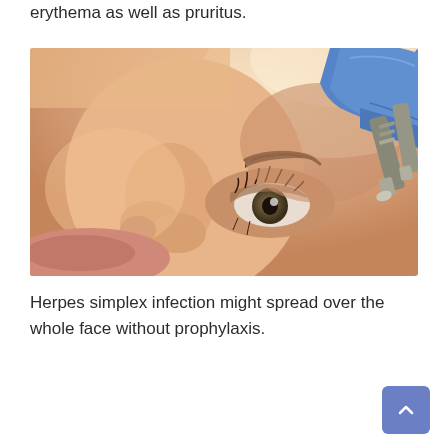erythema as well as pruritus.
[Figure (photo): Close-up photo of a woman lying down receiving a microneedling or similar cosmetic facial treatment. A gloved hand (blue latex glove) holds a pen-like device with a metallic tip applied near her eyebrow/forehead area. The woman has hazel/green eyes, dark eyebrows, and smooth skin.]
Herpes simplex infection might spread over the whole face without prophylaxis.